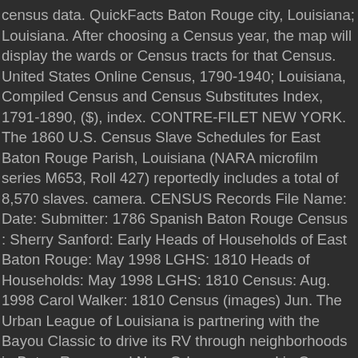census data. QuickFacts Baton Rouge city, Louisiana; Louisiana. After choosing a Census year, the map will display the wards or Census tracts for that Census. United States Online Census, 1790-1940; Louisiana, Compiled Census and Census Substitutes Index, 1791-1890, ($), index. CONTRE-FILET NEW YORK. The 1860 U.S. Census Slave Schedules for East Baton Rouge Parish, Louisiana (NARA microfilm series M653, Roll 427) reportedly includes a total of 8,570 slaves. camera. CENSUS Records File Name: Date: Submitter: 1786 Spanish Baton Rouge Census : Sherry Sanford: Early Heads of Households of East Baton Rouge: May 1998 LGHS: 1810 Heads of Households: May 1998 LGHS: 1810 Census: Aug. 1998 Carol Walker: 1810 Census (images) Jun. The Urban League of Louisiana is partnering with the Bayou Classic to drive its RV through neighborhoods in Baton Rouge and New Orleans covered in Census promotion as ... LA0330011021 Baton RougeLA0330011022 Baton Rouge *A census tract is a geographic area defined by the United States Census Bureau and used for the